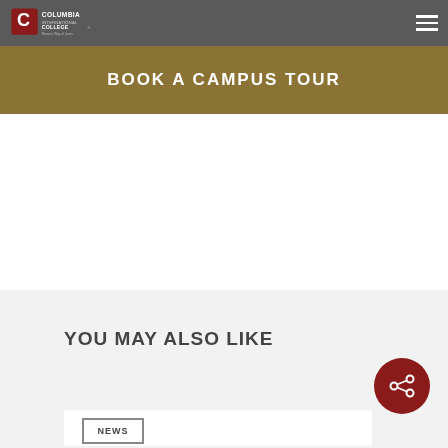Columbia International College
BOOK A CAMPUS TOUR
YOU MAY ALSO LIKE
NEWS